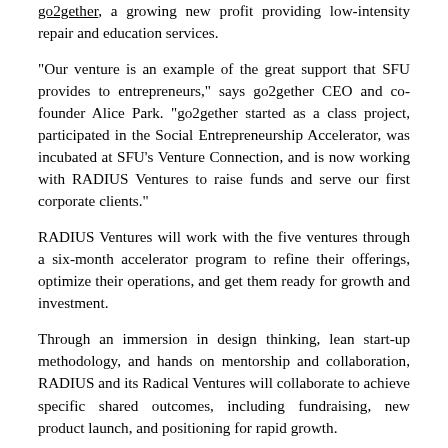go2gether, a growing new profit providing low-intensity repair and education services.
“Our venture is an example of the great support that SFU provides to entrepreneurs,” says go2gether CEO and co-founder Alice Park. “go2gether started as a class project, participated in the Social Entrepreneurship Accelerator, was incubated at SFU’s Venture Connection, and is now working with RADIUS Ventures to raise funds and serve our first corporate clients.”
RADIUS Ventures will work with the five ventures through a six-month accelerator program to refine their offerings, optimize their operations, and get them ready for growth and investment.
Through an immersion in design thinking, lean start-up methodology, and hands on mentorship and collaboration, RADIUS and its Radical Ventures will collaborate to achieve specific shared outcomes, including fundraising, new product launch, and positioning for rapid growth.
For more information on RADIUS Ventures, visit www.radiussfu.com